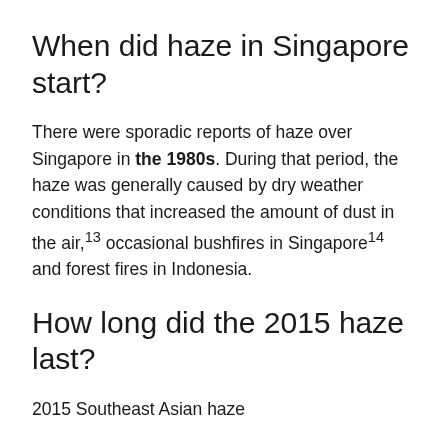When did haze in Singapore start?
There were sporadic reports of haze over Singapore in the 1980s. During that period, the haze was generally caused by dry weather conditions that increased the amount of dust in the air,13 occasional bushfires in Singapore14 and forest fires in Indonesia.
How long did the 2015 haze last?
2015 Southeast Asian haze